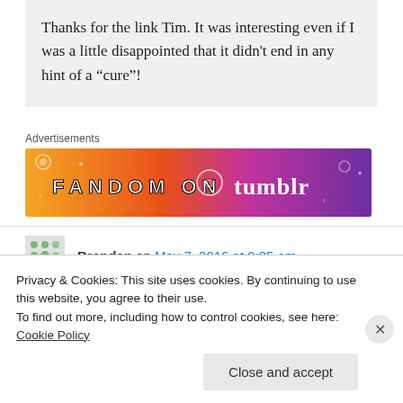Thanks for the link Tim. It was interesting even if I was a little disappointed that it didn't end in any hint of a “cure”!
Advertisements
[Figure (illustration): Colorful ad banner with orange-to-purple gradient reading FANDOM ON tumblr with music and heart doodles]
Brendan on May 7, 2016 at 9:05 am
Privacy & Cookies: This site uses cookies. By continuing to use this website, you agree to their use.
To find out more, including how to control cookies, see here: Cookie Policy